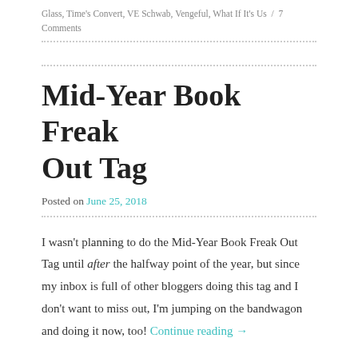Glass, Time's Convert, VE Schwab, Vengeful, What If It's Us / 7 Comments
Mid-Year Book Freak Out Tag
Posted on June 25, 2018
I wasn't planning to do the Mid-Year Book Freak Out Tag until after the halfway point of the year, but since my inbox is full of other bloggers doing this tag and I don't want to miss out, I'm jumping on the bandwagon and doing it now, too! Continue reading →
Posted in Tags / Tagged Adam Silvera, Alisha Rai, All Souls Trilogy,